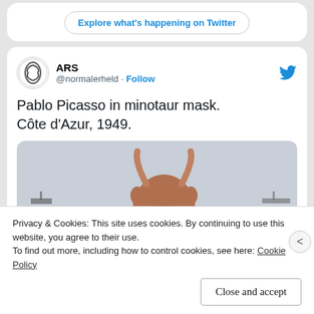Explore what's happening on Twitter
ARS @normalerheld · Follow
Pablo Picasso in minotaur mask. Côte d'Azur, 1949.
[Figure (photo): A person wearing a minotaur mask viewed from behind, with a seascape and ships in the background. Côte d'Azur, 1949.]
Privacy & Cookies: This site uses cookies. By continuing to use this website, you agree to their use.
To find out more, including how to control cookies, see here: Cookie Policy
Close and accept